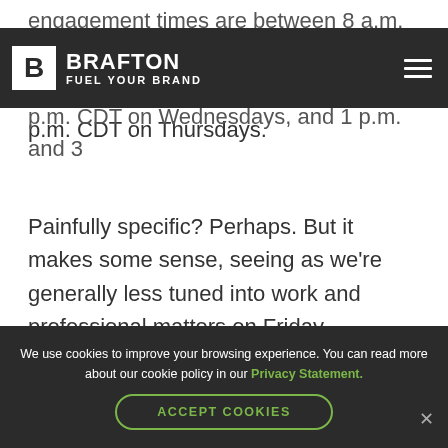Brafton – Fuel Your Brand
engagement times are between 8 a.m. and days, 10 a.m. and 12 p.m. CDT on Wednesdays, and 1 p.m. and 3 p.m. CDT on Thursdays.
Painfully specific? Perhaps. But it makes some sense, seeing as we're generally less tuned into work and professional matters on Friday, Saturday, Sunday and Monday.
We use cookies to improve your browsing experience. You can read more about our cookie policy in our Privacy Statement. ACCEPT COOKIES